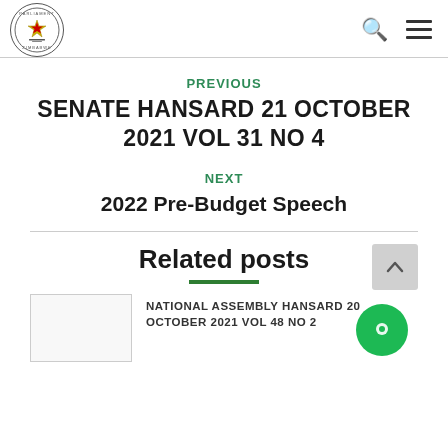Parliament Zimbabwe logo with search and menu icons
PREVIOUS
SENATE HANSARD 21 OCTOBER 2021 VOL 31 NO 4
NEXT
2022 Pre-Budget Speech
Related posts
NATIONAL ASSEMBLY HANSARD 20 OCTOBER 2021 VOL 48 NO 2